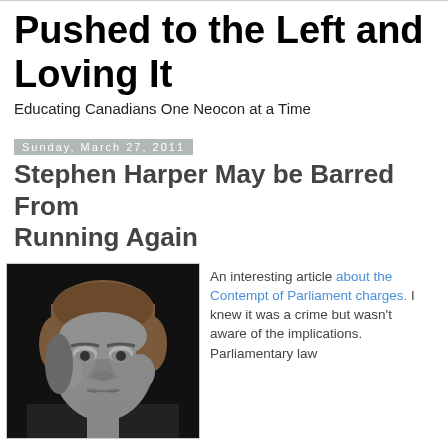Pushed to the Left and Loving It
Educating Canadians One Neocon at a Time
Sunday, March 27, 2011
Stephen Harper May be Barred From Running Again
[Figure (photo): Black and white photograph of Stephen Harper, close-up portrait showing face and hair against dark background]
An interesting article about the Contempt of Parliament charges. I knew it was a crime but wasn't aware of the implications. Parliamentary law